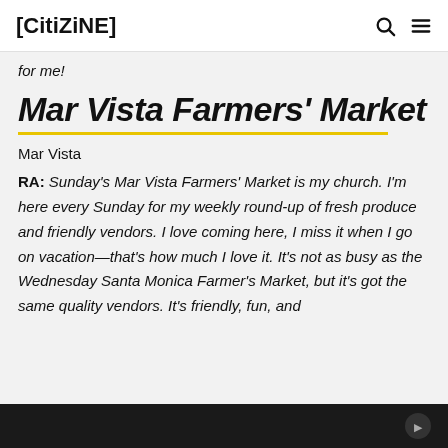[CITIZINE]
for me!
Mar Vista Farmers' Market
Mar Vista
RA: Sunday's Mar Vista Farmers' Market is my church. I'm here every Sunday for my weekly round-up of fresh produce and friendly vendors. I love coming here, I miss it when I go on vacation—that's how much I love it. It's not as busy as the Wednesday Santa Monica Farmer's Market, but it's got the same quality vendors. It's friendly, fun, and